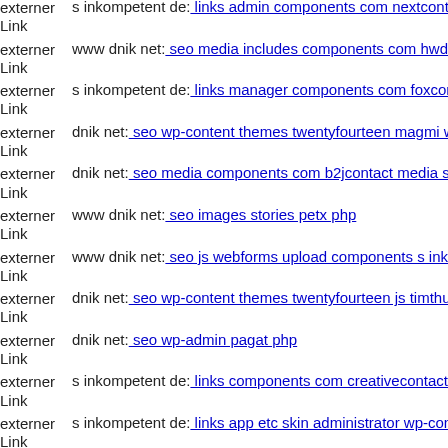externer Link s inkompetent de: links admin components com nextcontent...
externer Link www dnik net: seo media includes components com hwdvideo...
externer Link s inkompetent de: links manager components com foxcontact...
externer Link dnik net: seo wp-content themes twentyfourteen magmi web...
externer Link dnik net: seo media components com b2jcontact media sites...
externer Link www dnik net: seo images stories petx php
externer Link www dnik net: seo js webforms upload components s inkompetent...
externer Link dnik net: seo wp-content themes twentyfourteen js timthumb...
externer Link dnik net: seo wp-admin pagat php
externer Link s inkompetent de: links components com creativecontactform...
externer Link s inkompetent de: links app etc skin administrator wp-content...
externer Link www dnik net: seo wp-content themes twentyfourteen plug...